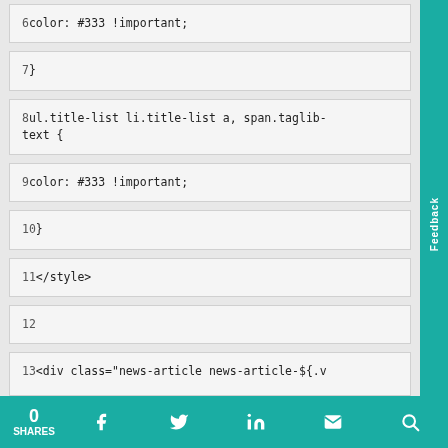6color: #333 !important;
7}
8ul.title-list li.title-list a, span.taglib-text {
9color: #333 !important;
10}
11</style>
12
13<div class="news-article news-article-${.v
0 SHARES  [facebook] [twitter] [linkedin] [email] [search]  Feedback